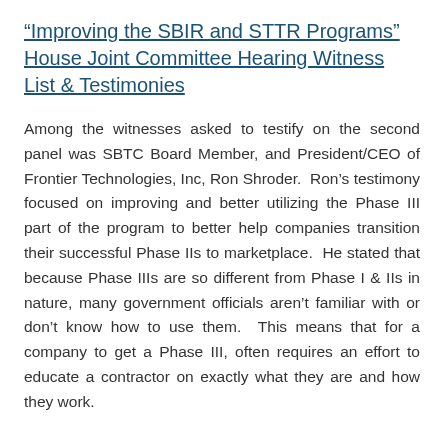“Improving the SBIR and STTR Programs” House Joint Committee Hearing Witness List & Testimonies
Among the witnesses asked to testify on the second panel was SBTC Board Member, and President/CEO of Frontier Technologies, Inc, Ron Shroder. Ron’s testimony focused on improving and better utilizing the Phase III part of the program to better help companies transition their successful Phase IIs to marketplace. He stated that because Phase IIIs are so different from Phase I & IIs in nature, many government officials aren’t familiar with or don’t know how to use them. This means that for a company to get a Phase III, often requires an effort to educate a contractor on exactly what they are and how they work.